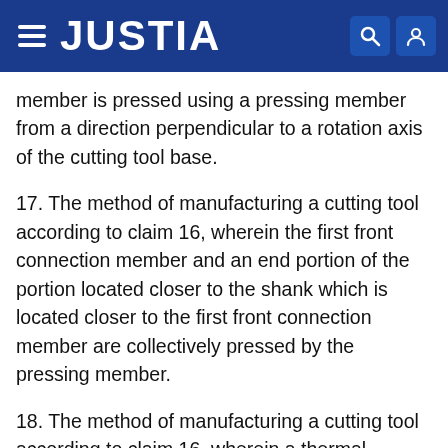JUSTIA
member is pressed using a pressing member from a direction perpendicular to a rotation axis of the cutting tool base.
17. The method of manufacturing a cutting tool according to claim 16, wherein the first front connection member and an end portion of the portion located closer to the shank which is located closer to the first front connection member are collectively pressed by the pressing member.
18. The method of manufacturing a cutting tool according to claim 16, wherein a thermal conductivity of the pressing member is higher than a thermal conductivity of the step.
19. The method of manufacturing a cutting tool according to claim 12, wherein a material of the first